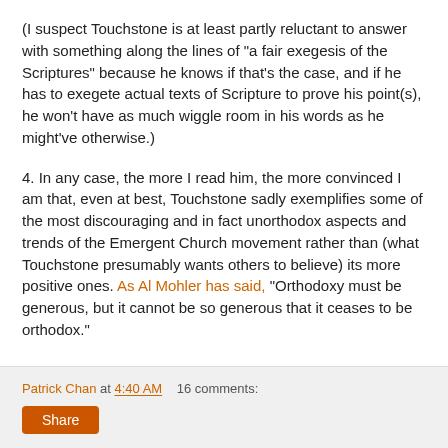(I suspect Touchstone is at least partly reluctant to answer with something along the lines of "a fair exegesis of the Scriptures" because he knows if that's the case, and if he has to exegete actual texts of Scripture to prove his point(s), he won't have as much wiggle room in his words as he might've otherwise.)
4. In any case, the more I read him, the more convinced I am that, even at best, Touchstone sadly exemplifies some of the most discouraging and in fact unorthodox aspects and trends of the Emergent Church movement rather than (what Touchstone presumably wants others to believe) its more positive ones. As Al Mohler has said, "Orthodoxy must be generous, but it cannot be so generous that it ceases to be orthodox."
Patrick Chan at 4:40 AM     16 comments: